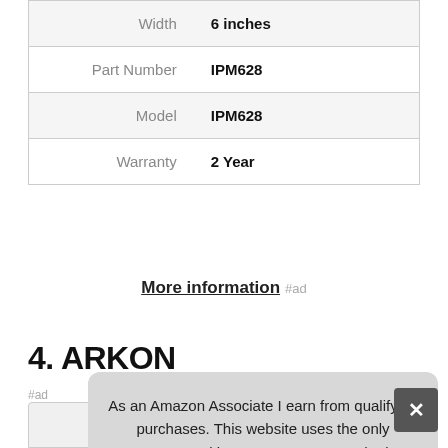| Width | 6 inches |
| Part Number | IPM628 |
| Model | IPM628 |
| Warranty | 2 Year |
More information #ad
4. ARKON
#ad
As an Amazon Associate I earn from qualifying purchases. This website uses the only necessary cookies to ensure you get the best experience on our website. More information